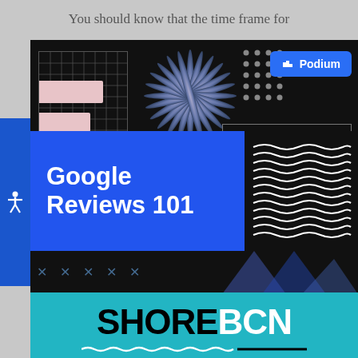You should know that the time frame for
[Figure (infographic): Dark background infographic for 'Google Reviews 101' by Podium. Contains a grid square with pink rectangles, a starburst/sparkle graphic, a dot grid pattern, a Podium brand button, a star rating card with lines, a search bar, a blue block with 'Google Reviews 101' text, wavy lines decoration, X marks, and triangle shapes.]
[Figure (logo): SHOREBCN logo on teal/cyan background. 'SHORE' in black bold and 'BCN' in white bold, with a wavy underline decoration.]